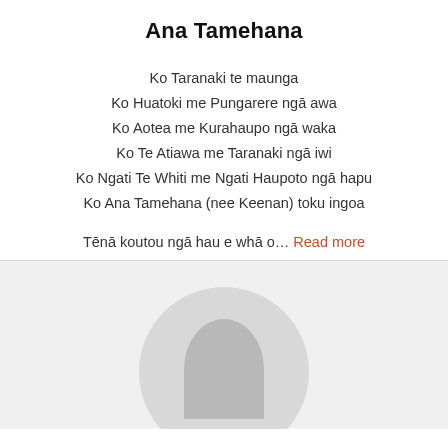Ana Tamehana
Ko Taranaki te maunga
Ko Huatoki me Pungarere ngā awa
Ko Aotea me Kurahaupo ngā waka
Ko Te Atiawa me Taranaki ngā iwi
Ko Ngati Te Whiti me Ngati Haupoto ngā hapu
Ko Ana Tamehana (nee Keenan) toku ingoa
Tēnā koutou ngā hau e whā o… Read more
[Figure (illustration): Generic user avatar placeholder — a grey circle with a darker grey head-and-shoulders silhouette shape inside it, positioned at the bottom of the page.]